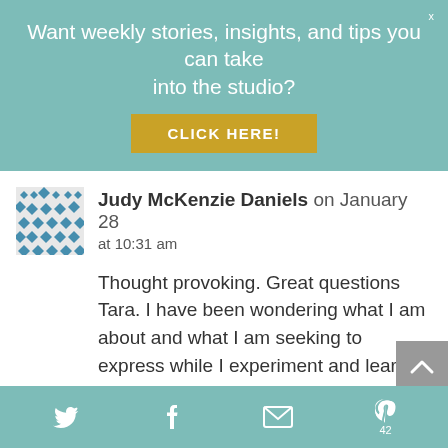Want weekly stories, insights, and tips you can take into the studio?
CLICK HERE!
Judy McKenzie Daniels on January 28 at 10:31 am
Thought provoking. Great questions Tara. I have been wondering what I am about and what I am seeking to express while I experiment and learn
This website uses cookies to improve your experience. By continuing to use this site, you agree to our use of
Twitter Facebook Email Pinterest 42